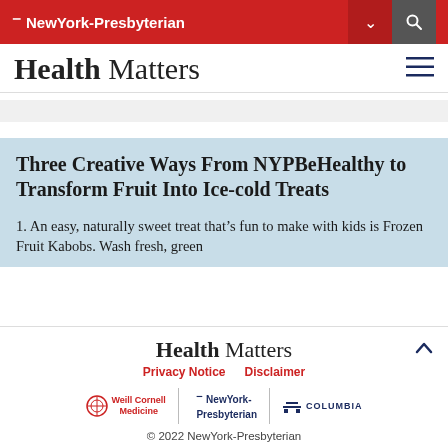NewYork-Presbyterian
Health Matters
Three Creative Ways From NYPBeHealthy to Transform Fruit Into Ice-cold Treats
1. An easy, naturally sweet treat that’s fun to make with kids is Frozen Fruit Kabobs. Wash fresh, green…
Health Matters  Privacy Notice  Disclaimer  © 2022 NewYork-Presbyterian